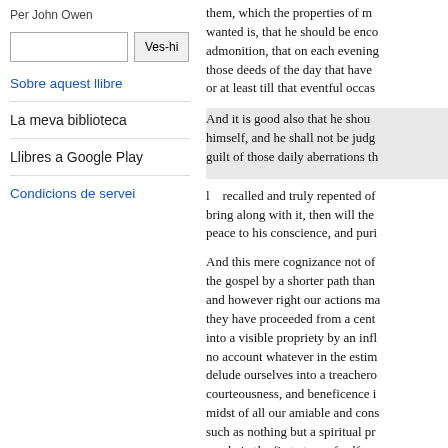Per John Owen
Sobre aquest llibre
La meva biblioteca
Llibres a Google Play
Condicions de servei
them, which the properties of m... wanted is, that he should be enco... admonition, that on each evening... those deeds of the day that have ... or at least till that eventful occas...
And it is good also that he shou... himself, and he shall not be judg... guilt of those daily aberrations th...
recalled and truly repented of... bring along with it, then will the... peace to his conscience, and puri...
And this mere cognizance not of... the gospel by a shorter path than... and however right our actions ma... they have proceeded from a cent... into a visible propriety by an infl... no account whatever in the estim... delude ourselves into a treachero... courteousness, and beneficence i... midst of all our amiable and cons... such as nothing but a spiritual pr... we do in the first stage of self...